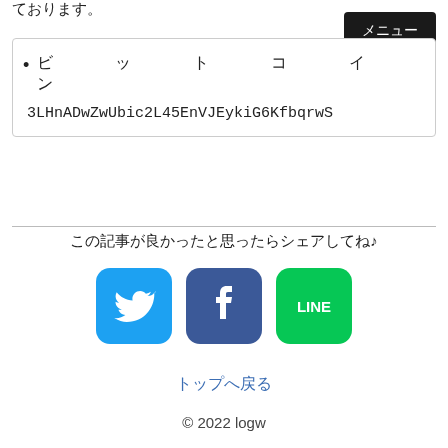ております。
ビットコイン
3LHnADwZwUbic2L45EnVJEykiG6KfbqrwS
この記事が良かったと思ったらシェアしてね♪
[Figure (illustration): Twitter, Facebook, and LINE social share buttons]
トップへ戻る
© 2022 logw